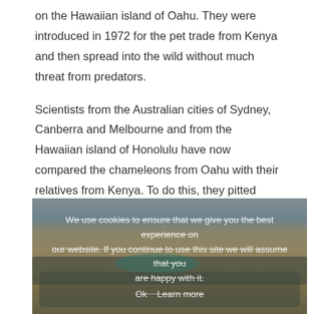on the Hawaiian island of Oahu. They were introduced in 1972 for the pet trade from Kenya and then spread into the wild without much threat from predators.
Scientists from the Australian cities of Sydney, Canberra and Melbourne and from the Hawaiian island of Honolulu have now compared the chameleons from Oahu with their relatives from Kenya. To do this, they pitted males against other males, predators such as birds and snakes, and observed them during courtship. Oahu's chameleons displayed more conspicuous colors when courting and competing with other males, and they were less camouflaged in the presence of predators.
[Figure (photo): Aerial or wide landscape photo of wildebeest migration on an African savanna, with a cookie consent overlay partially obscuring the image. The overlay text reads: 'We use cookies to ensure that we give you the best experience on our website. If you continue to use this site we will assume that you are happy with it.' with a button below.]